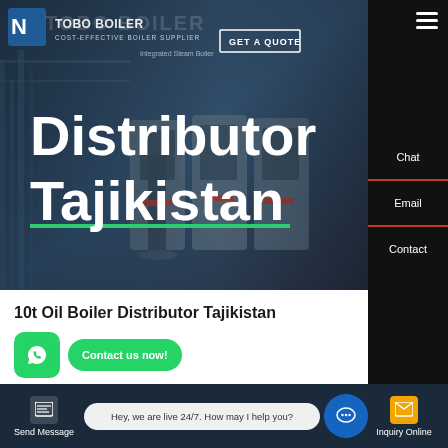[Figure (screenshot): Website hero banner for Toboo Boiler, a cost-effective boiler supplier, showing industrial boiler equipment with overlay text 'Distributor Tajikistan' in large white bold font on a dark blue-grey background]
Distributor Tajikistan
10t Oil Boiler Distributor Tajikistan
Contact us now!
HOT NEWS
Hey, we are live 24/7. How may I help you?
Send Message | Hey, we are live 24/7. How may I help you? | Inquiry Online